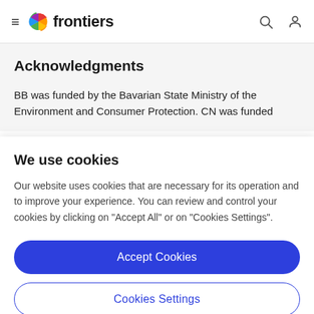frontiers
Acknowledgments
BB was funded by the Bavarian State Ministry of the Environment and Consumer Protection. CN was funded
We use cookies
Our website uses cookies that are necessary for its operation and to improve your experience. You can review and control your cookies by clicking on "Accept All" or on "Cookies Settings".
Accept Cookies
Cookies Settings